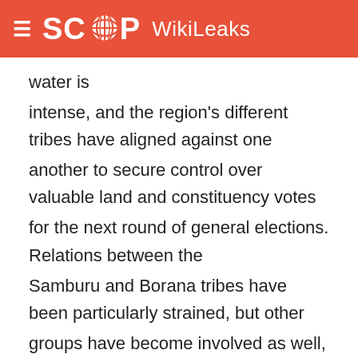SCOOP WikiLeaks
water is intense, and the region's different tribes have aligned against one another to secure control over valuable land and constituency votes for the next round of general elections. Relations between the Samburu and Borana tribes have been particularly strained, but other groups have become involved as well, including Rendille, Turkana, and Somalis.